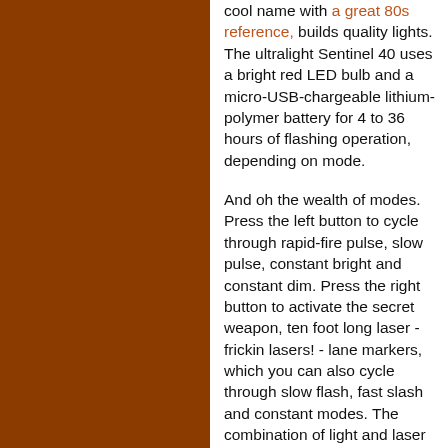cool name with a great 80s reference, builds quality lights. The ultralight Sentinel 40 uses a bright red LED bulb and a micro-USB-chargeable lithium-polymer battery for 4 to 36 hours of flashing operation, depending on mode.
And oh the wealth of modes. Press the left button to cycle through rapid-fire pulse, slow pulse, constant bright and constant dim. Press the right button to activate the secret weapon, ten foot long laser - frickin lasers! - lane markers, which you can also cycle through slow flash, fast slash and constant modes. The combination of light and laser is extremely effective at dissuading cars from harshing your vibe by riding your ass.
The Sentinel 40 is built like a tank, with a pocket clip that can also be